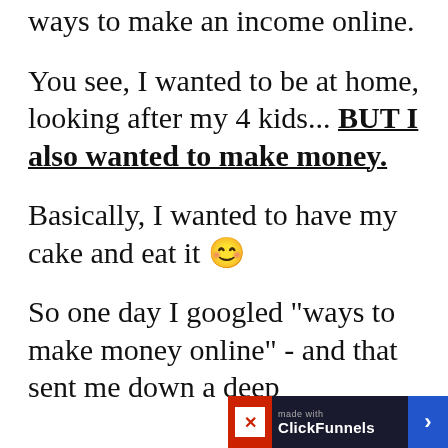ways to make an income online.
You see, I wanted to be at home, looking after my 4 kids... BUT I also wanted to make money.
Basically, I wanted to have my cake and eat it 😊
So one day I googled "ways to make money online" - and that sent me down a deep